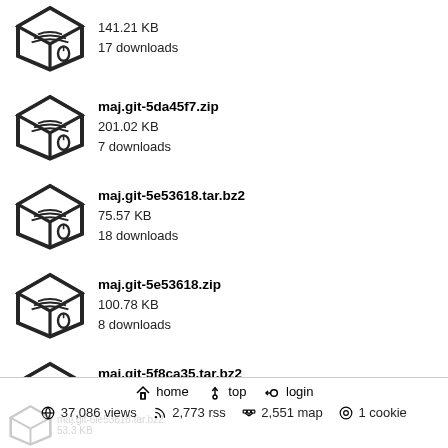141.21 KB
17 downloads
maj.git-5da45f7.zip
201.02 KB
7 downloads
maj.git-5e53618.tar.bz2
75.57 KB
18 downloads
maj.git-5e53618.zip
100.78 KB
8 downloads
maj.git-5f8ca35.tar.bz2
136.39 KB
17 downloads
maj.git-5f8ca35.zip
185.32 KB
7 downloads
home   top   login   37,086 views   2,773 rss   2,551 map   1 cookie